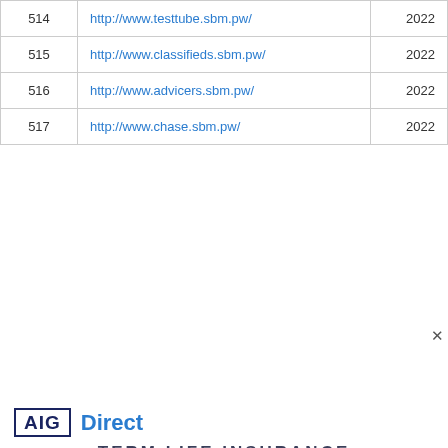| # | URL | Year |
| --- | --- | --- |
| 514 | http://www.testtube.sbm.pw/ | 2022 |
| 515 | http://www.classifieds.sbm.pw/ | 2022 |
| 516 | http://www.advicers.sbm.pw/ | 2022 |
| 517 | http://www.chase.sbm.pw/ | 2022 |
[Figure (infographic): AIG Direct Term Life Insurance advertisement. Shows AIG Direct logo, 'TERM LIFE INSURANCE' headline, 'GET $500,000 IN TERM LIFE COVERAGE', an illustrated male figure with beard, 'RATES START AT $17/month', 'MALE AGE 35', and a blue 'VIEW YOUR RATE >>>' call-to-action button.]